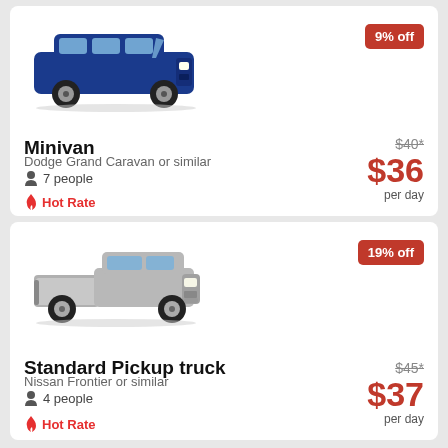[Figure (photo): Blue Dodge Grand Caravan minivan, side view on white background]
Minivan
Dodge Grand Caravan or similar
7 people
Hot Rate
9% off
$40*
$36
per day
[Figure (photo): Silver Nissan Frontier standard pickup truck, side view on white background]
Standard Pickup truck
Nissan Frontier or similar
4 people
Hot Rate
19% off
$45*
$37
per day
See more car deals